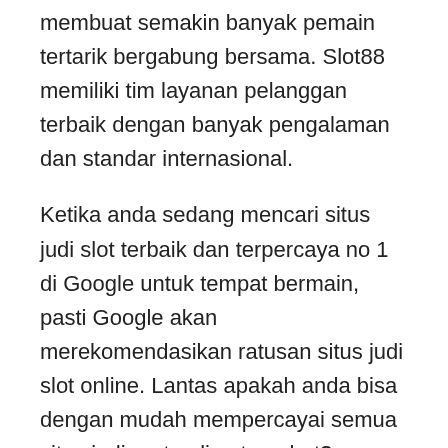membuat semakin banyak pemain tertarik bergabung bersama. Slot88 memiliki tim layanan pelanggan terbaik dengan banyak pengalaman dan standar internasional.
Ketika anda sedang mencari situs judi slot terbaik dan terpercaya no 1 di Google untuk tempat bermain, pasti Google akan merekomendasikan ratusan situs judi slot online. Lantas apakah anda bisa dengan mudah mempercayai semua situs judi port online tersebut? Apalagi saat ini sedang banyak penipuan yang terjadi dan dialami oleh para penjudi dimana uang mereka dibawa lari oleh pihak situs judi online abal abal yang tidak bertanggung jawab. Lengkap masih keder untuk menjadi brand-new anggota di daftar situs slot online judi terbaik jangan cemas.